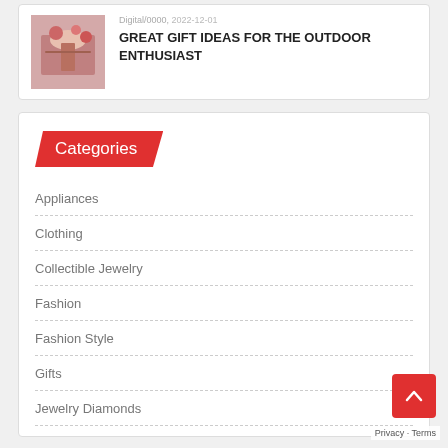[Figure (photo): Hands wrapping a gift with flowers on it]
GREAT GIFT IDEAS FOR THE OUTDOOR ENTHUSIAST
Categories
Appliances
Clothing
Collectible Jewelry
Fashion
Fashion Style
Gifts
Jewelry Diamonds